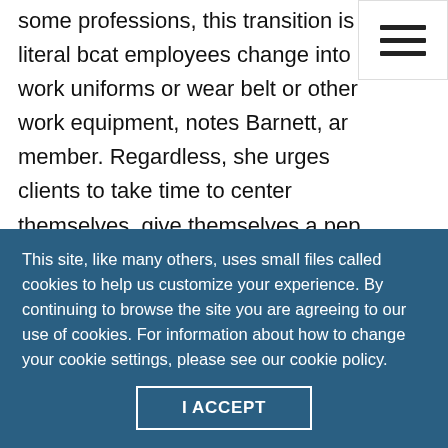some professions, this transition is literal beat employees change into work uniforms or wear belt or other work equipment, notes Barnett, an member. Regardless, she urges clients to take time to center themselves, give themselves a pep talk and be mindful about setting themselves up for the workday or for their return home.
Hembree notes that offering psychoeducation regarding how anxiety manifests in the body and
This site, like many others, uses small files called cookies to help us customize your experience. By continuing to browse the site you are agreeing to our use of cookies. For information about how to change your cookie settings, please see our cookie policy.
I ACCEPT